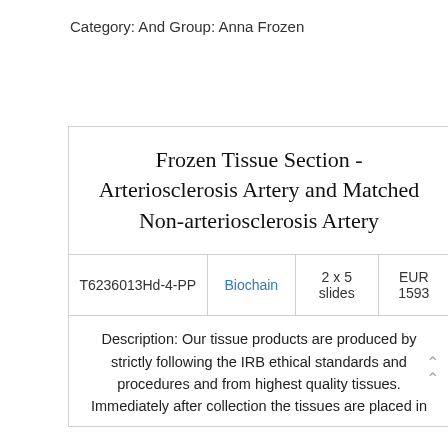Category: And Group: Anna Frozen
Anna Frozen information
Frozen Tissue Section - Arteriosclerosis Artery and Matched Non-arteriosclerosis Artery
| ID | Supplier | Quantity | Price |
| --- | --- | --- | --- |
| T6236013Hd-4-PP | Biochain | 2 x 5 slides | EUR 1593 |
Description: Our tissue products are produced by strictly following the IRB ethical standards and procedures and from highest quality tissues. Immediately after collection the tissues are placed in